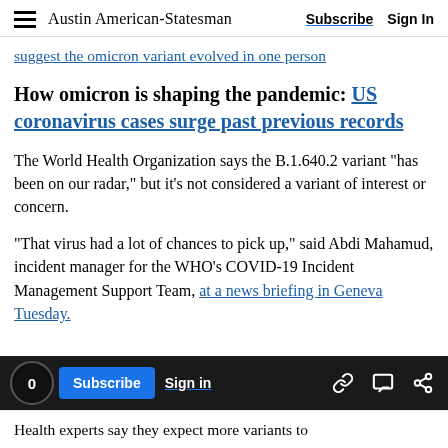Austin American-Statesman  Subscribe  Sign In
suggest the omicron variant evolved in one person
How omicron is shaping the pandemic: US coronavirus cases surge past previous records
The World Health Organization says the B.1.640.2 variant "has been on our radar," but it's not considered a variant of interest or concern.
“That virus had a lot of chances to pick up,” said Abdi Mahamud, incident manager for the WHO's COVID-19 Incident Management Support Team, at a news briefing in Geneva Tuesday.
Health experts say they expect more variants to